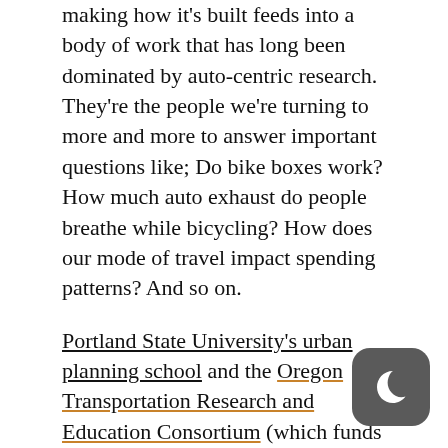making how it's built feeds into a body of work that has long been dominated by auto-centric research. They're the people we're turning to more and more to answer important questions like; Do bike boxes work? How much auto exhaust do people breathe while bicycling? How does our mode of travel impact spending patterns? And so on.
Portland State University's urban planning school and the Oregon Transportation Research and Education Consortium (which funds much of the research) is at the forefront of this burgeoning field of study.
Many PSU planning students completed their pilgrimage to the annual meeting of the Transportation Research Board (TRB) which wrapped up last week in Washington D.C. At an